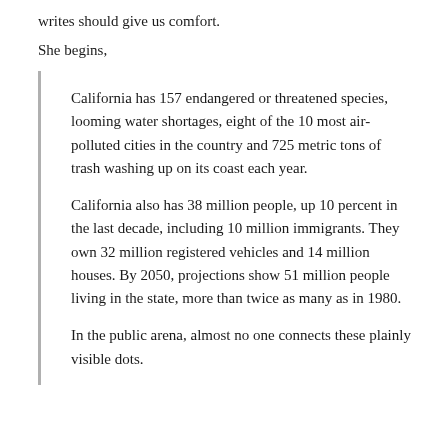writes should give us comfort.
She begins,
California has 157 endangered or threatened species, looming water shortages, eight of the 10 most air-polluted cities in the country and 725 metric tons of trash washing up on its coast each year.
California also has 38 million people, up 10 percent in the last decade, including 10 million immigrants. They own 32 million registered vehicles and 14 million houses. By 2050, projections show 51 million people living in the state, more than twice as many as in 1980.
In the public arena, almost no one connects these plainly visible dots.